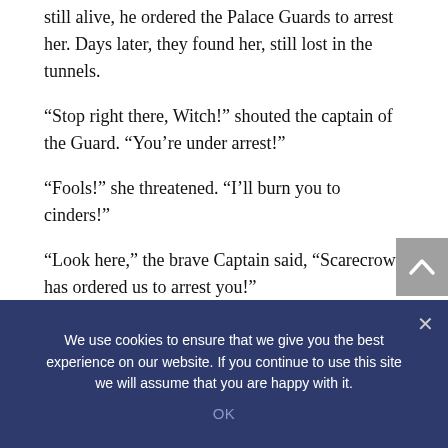still alive, he ordered the Palace Guards to arrest her. Days later, they found her, still lost in the tunnels.
“Stop right there, Witch!” shouted the captain of the Guard. “You’re under arrest!”
“Fools!” she threatened. “I’ll burn you to cinders!”
“Look here,” the brave Captain said, “Scarecrow has ordered us to arrest you!”
“Arrest this!” shouted the Witch, and she thrust her hand toward the Captain as if to throw a fireball.
He flinched.
We use cookies to ensure that we give you the best experience on our website. If you continue to use this site we will assume that you are happy with it.